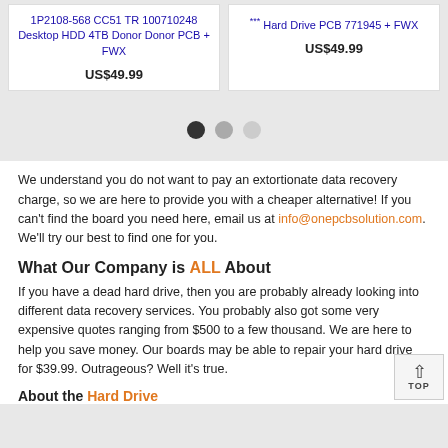1P2108-568 CC51 TR 100710248 Desktop HDD 4TB Donor Donor PCB + FWX
US$49.99
Hard Drive PCB 771945 + FWX
US$49.99
[Figure (other): Carousel navigation dots: three circles, first is dark/active, second is medium gray, third is light gray]
We understand you do not want to pay an extortionate data recovery charge, so we are here to provide you with a cheaper alternative! If you can't find the board you need here, email us at info@onepcbsolution.com. We'll try our best to find one for you.
What Our Company is ALL About
If you have a dead hard drive, then you are probably already looking into different data recovery services. You probably also got some very expensive quotes ranging from $500 to a few thousand. We are here to help you save money. Our boards may be able to repair your hard drive for $39.99. Outrageous? Well it's true.
About the Hard Drive